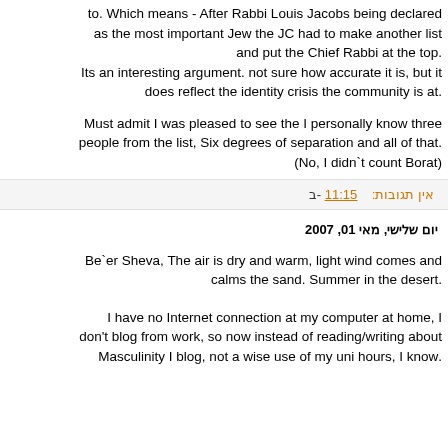to. Which means - After Rabbi Louis Jacobs being declared as the most important Jew the JC had to make another list and put the Chief Rabbi at the top. Its an interesting argument. not sure how accurate it is, but it does reflect the identity crisis the community is at.
Must admit I was pleased to see the I personally know three people from the list, Six degrees of separation and all of that. (No, I didn`t count Borat)
ב- 11:15   אין תגובות:
יום שלישי, מאי 01, 2007
Be`er Sheva, The air is dry and warm, light wind comes and calms the sand. Summer in the desert.
I have no Internet connection at my computer at home, I don't blog from work, so now instead of reading/writing about Masculinity I blog, not a wise use of my uni hours, I know.